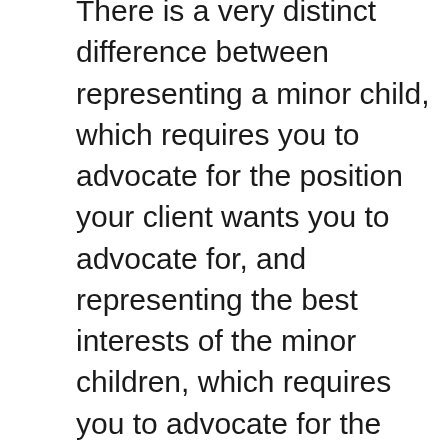There is a very distinct difference between representing a minor child, which requires you to advocate for the position your client wants you to advocate for, and representing the best interests of the minor children, which requires you to advocate for the position that you feel is in the child’s best interests, regardless of what the child wants.  If a parent wants the minor children to be represented by an attorney, the only way to accomplish this in a private custody case is to hire an attorney to do so.  A Guardian Ad Litem is appointed by the Court and the Court makes an order about who will be responsible for payment of the GAL’s fees, which are usually divided equally by the parties.  The entire section on this seems to confuse the two roles.  There are a few other sections that are ambiguous or misleading, which I feel might result in confusion on the part of the client.